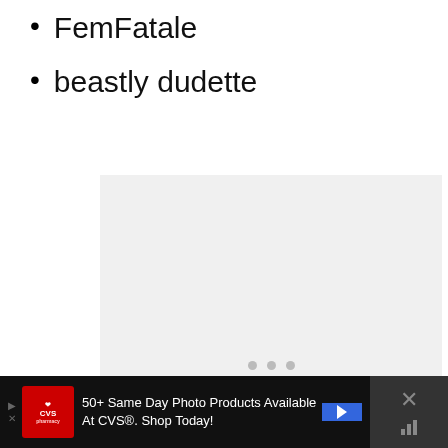FemFatale
beastly dudette
[Figure (other): Gray placeholder/loading image box with three gray dots centered in it, indicating an image is loading]
5
50+ Same Day Photo Products Available At CVS®. Shop Today!